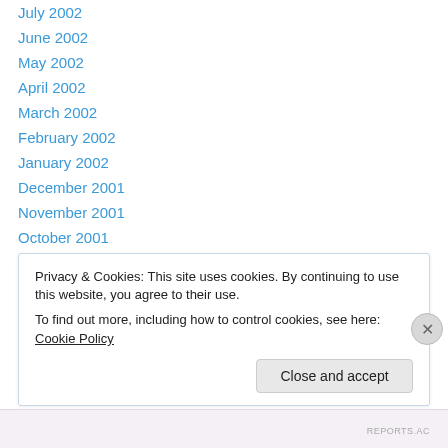July 2002
June 2002
May 2002
April 2002
March 2002
February 2002
January 2002
December 2001
November 2001
October 2001
September 2001
August 2001
July 2001
Privacy & Cookies: This site uses cookies. By continuing to use this website, you agree to their use. To find out more, including how to control cookies, see here: Cookie Policy
Close and accept